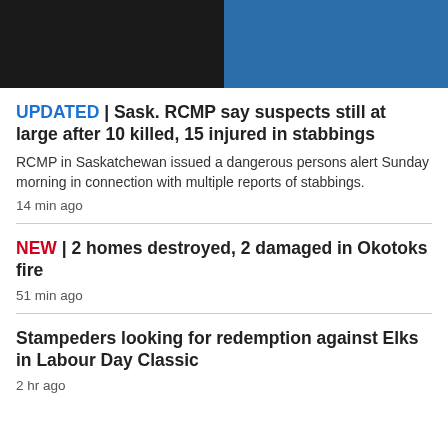[Figure (photo): Two mugshot-style photos side by side: left person in dark shirt, right person in blue shirt]
UPDATED | Sask. RCMP say suspects still at large after 10 killed, 15 injured in stabbings
RCMP in Saskatchewan issued a dangerous persons alert Sunday morning in connection with multiple reports of stabbings.
14 min ago
NEW | 2 homes destroyed, 2 damaged in Okotoks fire
51 min ago
Stampeders looking for redemption against Elks in Labour Day Classic
2 hr ago